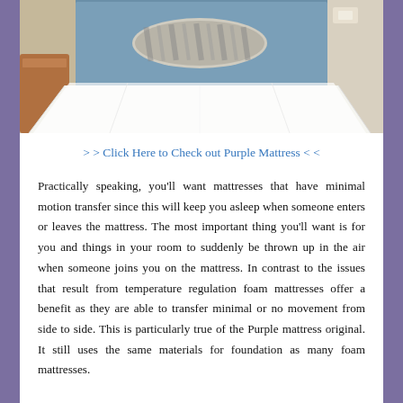[Figure (photo): A neatly made white bed with a striped pillow against a blue headboard in a hotel or bedroom setting]
> > Click Here to Check out Purple Mattress < <
Practically speaking, you'll want mattresses that have minimal motion transfer since this will keep you asleep when someone enters or leaves the mattress. The most important thing you'll want is for you and things in your room to suddenly be thrown up in the air when someone joins you on the mattress. In contrast to the issues that result from temperature regulation foam mattresses offer a benefit as they are able to transfer minimal or no movement from side to side. This is particularly true of the Purple mattress original. It still uses the same materials for foundation as many foam mattresses.